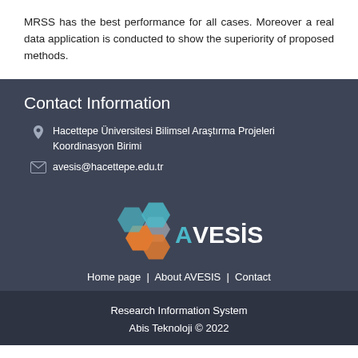MRSS has the best performance for all cases. Moreover a real data application is conducted to show the superiority of proposed methods.
Contact Information
Hacettepe Üniversitesi Bilimsel Araştırma Projeleri Koordinasyon Birimi
avesis@hacettepe.edu.tr
[Figure (logo): AVESIS logo with colorful hexagonal pattern and teal/orange text]
Home page  |  About AVESIS  |  Contact
Research Information System
Abis Teknoloji © 2022